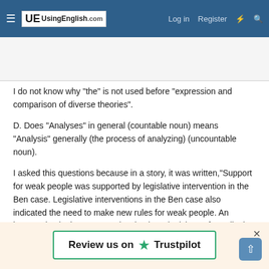UsingEnglish.com — Log in  Register
I do not know why "the" is not used before "expression and comparison of diverse theories".
D. Does "Analyses" in general (countable noun) means "Analysis" generally (the process of analyzing) (uncountable noun).
I asked this questions because in a story, it was written,"Support for weak people was supported by legislative intervention in the Ben case. Legislative interventions in the Ben case also indicated the need to make new rules for weak people. An intervention in the Ben case involved two legislators from district two who condemned inaction by the
[Figure (screenshot): Review us on Trustpilot banner with close button and scroll-to-top button]